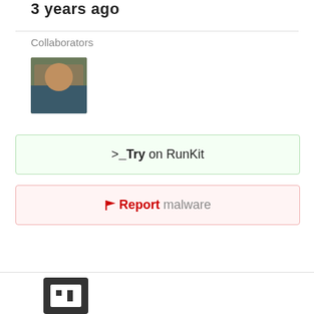3 years ago
Collaborators
[Figure (photo): Collaborator avatar/profile photo thumbnail showing a person's face]
>_Try on RunKit
🚩Report malware